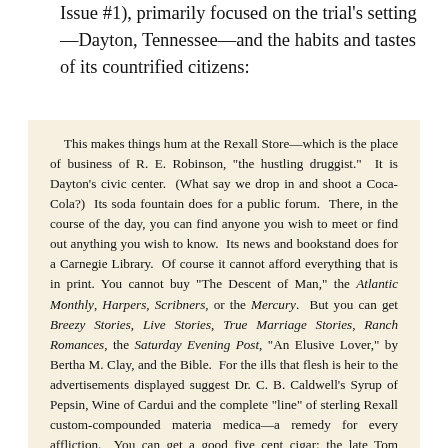Issue #1), primarily focused on the trial's setting—Dayton, Tennessee—and the habits and tastes of its countrified citizens:
This makes things hum at the Rexall Store—which is the place of business of R. E. Robinson, "the hustling druggist." It is Dayton's civic center. (What say we drop in and shoot a Coca-Cola?) Its soda fountain does for a public forum. There, in the course of the day, you can find anyone you wish to meet or find out anything you wish to know. Its news and bookstand does for a Carnegie Library. Of course it cannot afford everything that is in print. You cannot buy "The Descent of Man," the Atlantic Monthly, Harpers, Scribners, or the Mercury. But you can get Breezy Stories, Live Stories, True Marriage Stories, Ranch Romances, the Saturday Evening Post, "An Elusive Lover," by Bertha M. Clay, and the Bible. For the ills that flesh is heir to the advertisements displayed suggest Dr. C. B. Caldwell's Syrup of Pepsin, Wine of Cardui and the complete "line" of sterling Rexall custom-compounded materia medica—a remedy for every affliction. You can get a good five cent cigar; the late Tom Marshall died